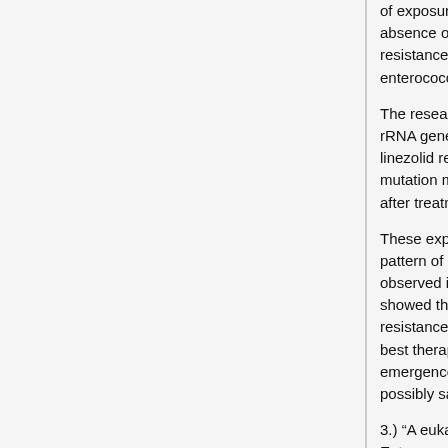of exposure. No mutants were isolated in the absence of linezolid, suggesting that de novo resistance to linezolid was uncommon in the enterococci.
The research found that a mutation in a single 23S rRNA gene is the critical step in the emergence of linezolid resistance. Primary colonization with single-mutation mutants were observed as early as 5 days after treatment initiation in mice.
These experiments involving mice help explain the pattern of emergence of resistance to linezolid observed in clinical isolates. The research team showed that dose is critical to the dynamics of resistance. These findings should help define the best therapeutic strategies to minimize the emergence of resistance in the clinical setting, possibly saving many lives.
3.) "A eukaryotic-type Ser/Thr kinase in Enterococcus faecalis mediates antimicrobial resistance and intestinal persistence"